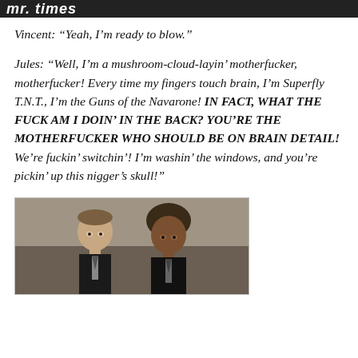mr. times
Vincent: “Yeah, I’m ready to blow.”
Jules: “Well, I’m a mushroom-cloud-layin’ motherfucker, motherfucker! Every time my fingers touch brain, I’m Superfly T.N.T., I’m the Guns of the Navarone! IN FACT, WHAT THE FUCK AM I DOIN’ IN THE BACK? YOU’RE THE MOTHERFUCKER WHO SHOULD BE ON BRAIN DETAIL! We’re fuckin’ switchin’! I’m washin’ the windows, and you’re pickin’ up this nigger’s skull!”
[Figure (photo): Two men in black suits standing side by side. The man on the left has light skin and shorter hair; the man on the right has darker skin and an afro hairstyle. They appear to be characters from a film.]